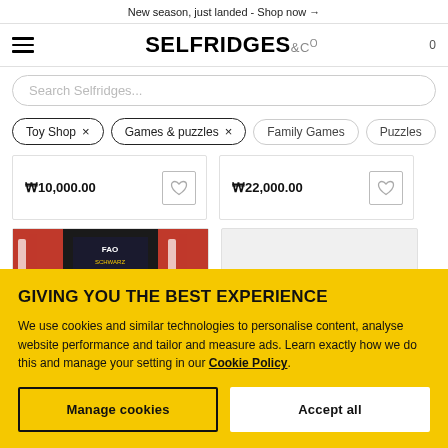New season, just landed - Shop now →
[Figure (logo): Selfridges & Co logo with hamburger menu and cart icon]
Search Selfridges...
Toy Shop ×
Games & puzzles ×
Family Games
Puzzles
₩10,000.00
₩22,000.00
[Figure (photo): FAO product packaging image - red and black design]
GIVING YOU THE BEST EXPERIENCE
We use cookies and similar technologies to personalise content, analyse website performance and tailor and measure ads. Learn exactly how we do this and manage your setting in our Cookie Policy.
Manage cookies
Accept all